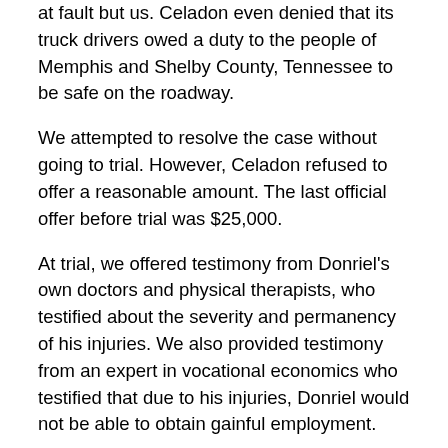at fault but us. Celadon even denied that its truck drivers owed a duty to the people of Memphis and Shelby County, Tennessee to be safe on the roadway.
We attempted to resolve the case without going to trial. However, Celadon refused to offer a reasonable amount. The last official offer before trial was $25,000.
At trial, we offered testimony from Donriel's own doctors and physical therapists, who testified about the severity and permanency of his injuries. We also provided testimony from an expert in vocational economics who testified that due to his injuries, Donriel would not be able to obtain gainful employment.
Celadon, true to form, continued its frivolous defense at trial by using hired-gun experts to say that Donriel was not really hurt, and if he was, it was not due to the wreck. Celadon's experts, Dr. Robert Applebaum, Carla Seyler, and Douglas Morr, had long histories of testifying for insurance companies and corporations defending lawsuits. Dr. Applebaum makes nearly half a million